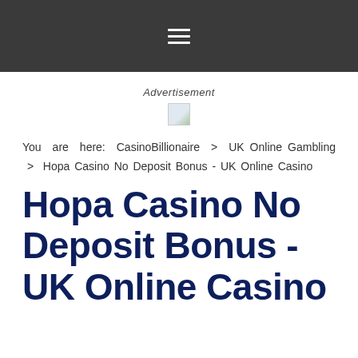☰
Advertisement
[Figure (other): Small broken/placeholder image icon]
You are here: CasinoBillionaire > UK Online Gambling > Hopa Casino No Deposit Bonus - UK Online Casino
Hopa Casino No Deposit Bonus - UK Online Casino